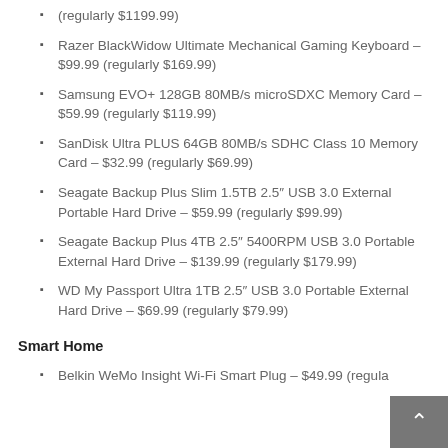(regularly $1199.99)
Razer BlackWidow Ultimate Mechanical Gaming Keyboard – $99.99 (regularly $169.99)
Samsung EVO+ 128GB 80MB/s microSDXC Memory Card – $59.99 (regularly $119.99)
SanDisk Ultra PLUS 64GB 80MB/s SDHC Class 10 Memory Card – $32.99 (regularly $69.99)
Seagate Backup Plus Slim 1.5TB 2.5″ USB 3.0 External Portable Hard Drive – $59.99 (regularly $99.99)
Seagate Backup Plus 4TB 2.5″ 5400RPM USB 3.0 Portable External Hard Drive – $139.99 (regularly $179.99)
WD My Passport Ultra 1TB 2.5″ USB 3.0 Portable External Hard Drive – $69.99 (regularly $79.99)
Smart Home
Belkin WeMo Insight Wi-Fi Smart Plug – $49.99 (regula…